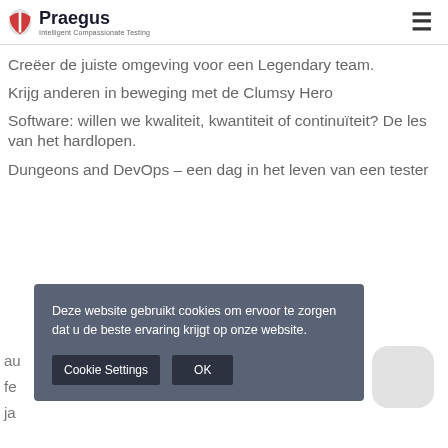Praegus — Intelligent Compassionate Testing
Creëer de juiste omgeving voor een Legendary team.
Krijg anderen in beweging met de Clumsy Hero
Software: willen we kwaliteit, kwantiteit of continuïteit? De les van het hardlopen.
Dungeons and DevOps – een dag in het leven van een tester
Deze website gebruikt cookies om ervoor te zorgen dat u de beste ervaring krijgt op onze website.
Cookie Settings   OK